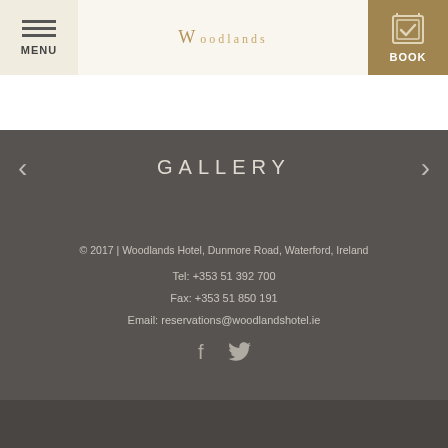MENU | Woodlands Hotel | BOOK
GALLERY
© 2017 | Woodlands Hotel, Dunmore Road, Waterford, Ireland
Tel: +353 51 392 700
Fax: +353 51 850 191
Email: reservations@woodlandshotel.ie